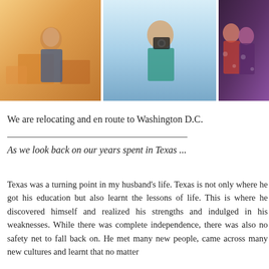[Figure (photo): A collage of three photos: left shows a person sitting in a warm-toned room with moving boxes, center shows a man in a teal shirt taking a photo with a camera, right shows two people together in a patterned/dark setting.]
We are relocating and en route to Washington D.C.
As we look back on our years spent in Texas ...
Texas was a turning point in my husband's life. Texas is not only where he got his education but also learnt the lessons of life. This is where he discovered himself and realized his strengths and indulged in his weaknesses. While there was complete independence, there was also no safety net to fall back on. He met many new people, came across many new cultures and learnt that no matter